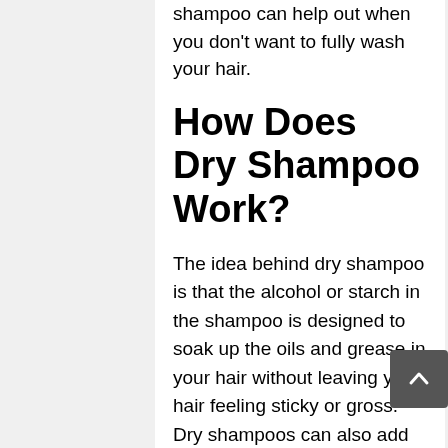shampoo can help out when you don't want to fully wash your hair.
How Does Dry Shampoo Work?
The idea behind dry shampoo is that the alcohol or starch in the shampoo is designed to soak up the oils and grease in your hair without leaving your hair feeling sticky or gross. Dry shampoos can also add some volume to your hair, while also making it smell fresh.
It shouldn't be used as a replacement for traditional washing, as repeated use over time can cause build-up in your hair. Traditional shampoo is necessary in order to clean out any dirt and bacteria that may be accumulating. While dry shampoo can help soak up some of the excess oils in your hair.